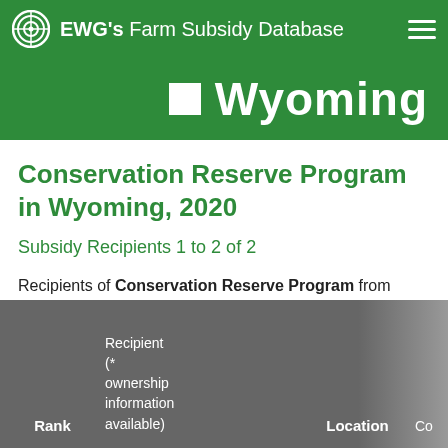EWG's Farm Subsidy Database
Wyoming
Conservation Reserve Program in Wyoming, 2020
Subsidy Recipients 1 to 2 of 2
Recipients of Conservation Reserve Program from farms in Wyoming totaled $1,345 in in 2020.
| Rank | Recipient (* ownership information available) | Location | Co |
| --- | --- | --- | --- |